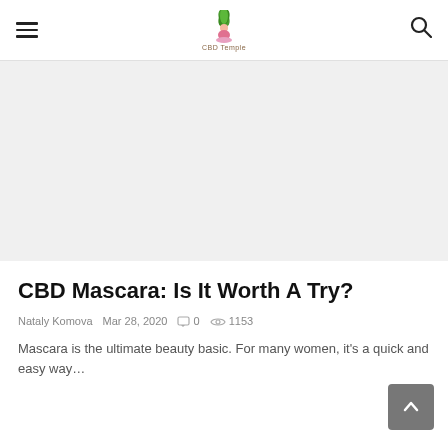CBD Temple — site header with hamburger menu, logo, and search icon
[Figure (photo): Article hero image placeholder — light gray rectangle]
CBD Mascara: Is It Worth A Try?
Nataly Komova   Mar 28, 2020   0   1153
Mascara is the ultimate beauty basic. For many women, it's a quick and easy way…